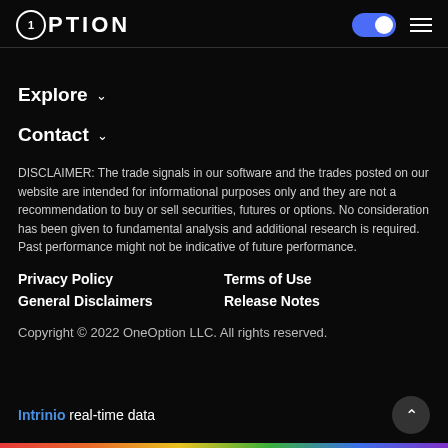1Option
Explore
Contact
DISCLAIMER: The trade signals in our software and the trades posted on our website are intended for informational purposes only and they are not a recommendation to buy or sell securities, futures or options. No consideration has been given to fundamental analysis and additional research is required. Past performance might not be indicative of future performance.
Privacy Policy   Terms of Use
General Disclaimers   Release Notes
Copyright © 2022 OneOption LLC. All rights reserved.
Intrinio real-time data